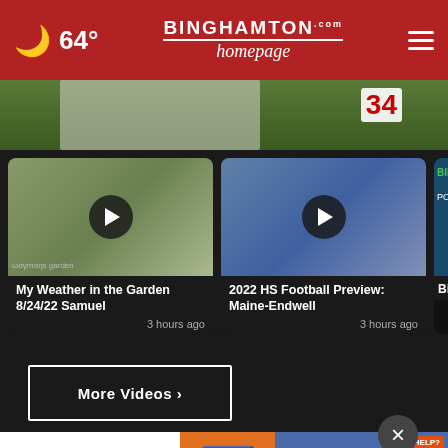64° — Binghamton Homepage
[Figure (screenshot): Partial hero image showing grass/outdoor scene with channel 34 badge]
[Figure (screenshot): Video thumbnail: My Weather in the Garden 8/24/22 Samuel — shows garden scene with play button]
My Weather in the Garden 8/24/22 Samuel
3 hours ago
[Figure (screenshot): Video thumbnail: 2022 HS Football Preview: Maine-Endwell — shows football field with play button]
2022 HS Football Preview: Maine-Endwell
3 hours ago
[Figure (screenshot): Partial video thumbnail: Binghamton (partially visible)]
Bingh
More Videos ›
[Figure (advertisement): Joe Knows advertisement with wheelchair accessibility icon and Social Security card imagery with NEED HELP? banner]